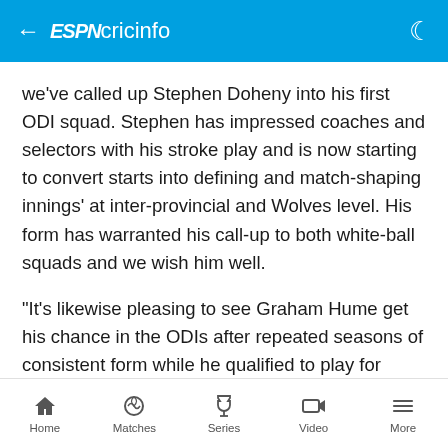← ESPN cricinfo
we've called up Stephen Doheny into his first ODI squad. Stephen has impressed coaches and selectors with his stroke play and is now starting to convert starts into defining and match-shaping innings' at inter-provincial and Wolves level. His form has warranted his call-up to both white-ball squads and we wish him well.
"It's likewise pleasing to see Graham Hume get his chance in the ODIs after repeated seasons of consistent form while he qualified to play for Ireland. Hume has demonstrated his accuracy and ability to extract bounce and movement in home conditions -
Home   Matches   Series   Video   More